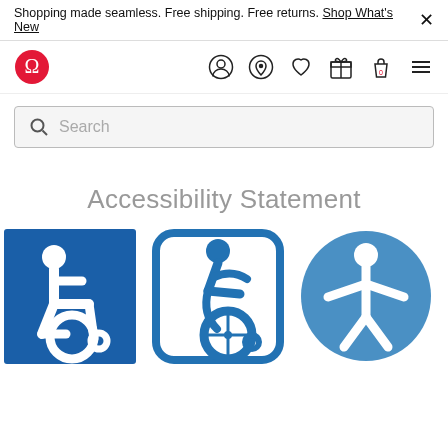Shopping made seamless. Free shipping. Free returns. Shop What's New ×
[Figure (logo): Lululemon logo (red circle with omega symbol) and navigation icons: account, location, wishlist, gift card, bag (0), menu]
[Figure (screenshot): Search bar with magnifying glass icon and placeholder text 'Search']
Accessibility Statement
[Figure (illustration): Three accessibility icons: 1) Classic ISA wheelchair symbol - white figure in wheelchair on blue square background. 2) Modern dynamic wheelchair accessibility symbol - blue figure leaning forward in wheelchair with rounded rectangle border. 3) Accessibility icon - blue circle with white stick figure arms outstretched.]